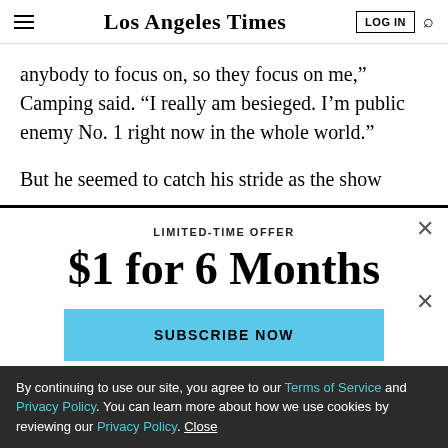Los Angeles Times
anybody to focus on, so they focus on me,” Camping said. “I really am besieged. I’m public enemy No. 1 right now in the whole world.”

But he seemed to catch his stride as the show
LIMITED-TIME OFFER
$1 for 6 Months
SUBSCRIBE NOW
By continuing to use our site, you agree to our Terms of Service and Privacy Policy. You can learn more about how we use cookies by reviewing our Privacy Policy. Close